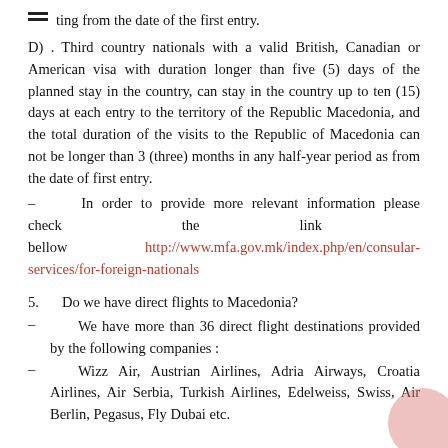ting from the date of the first entry.
D) . Third country nationals with a valid British, Canadian or American visa with duration longer than five (5) days of the planned stay in the country, can stay in the country up to ten (15) days at each entry to the territory of the Republic Macedonia, and the total duration of the visits to the Republic of Macedonia can not be longer than 3 (three) months in any half-year period as from the date of first entry.
- In order to provide more relevant information please check the link bellow http://www.mfa.gov.mk/index.php/en/consular-services/for-foreign-nationals
5. Do we have direct flights to Macedonia?
- We have more than 36 direct flight destinations provided by the following companies :
- Wizz Air, Austrian Airlines, Adria Airways, Croatia Airlines, Air Serbia, Turkish Airlines, Edelweiss, Swiss, Air Berlin, Pegasus, Fly Dubai etc.